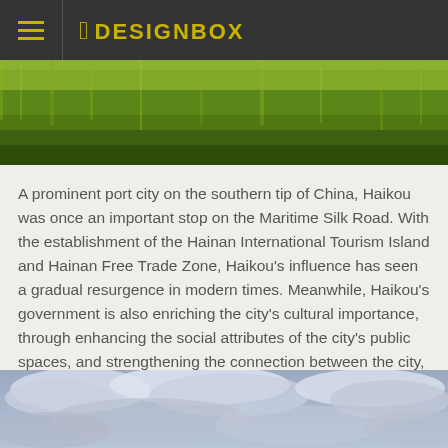8 DESIGNBOX
[Figure (photo): Green grass field viewed from close to the ground, top portion of an outdoor photo]
A prominent port city on the southern tip of China, Haikou was once an important stop on the Maritime Silk Road. With the establishment of the Hainan International Tourism Island and Hainan Free Trade Zone, Haikou's influence has seen a gradual resurgence in modern times. Meanwhile, Haikou's government is also enriching the city's cultural importance, through enhancing the social attributes of the city's public spaces, and strengthening the connection between the city, humanities, and architecture. The Cloudscape of Haikou is one such culmination of this effort.
[Figure (photo): Cloudy sky with grey and white clouds, bottom portion of an outdoor photo]